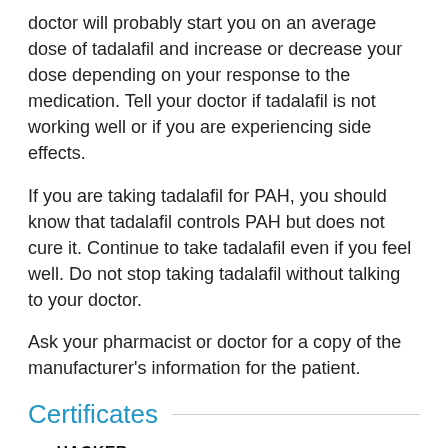doctor will probably start you on an average dose of tadalafil and increase or decrease your dose depending on your response to the medication. Tell your doctor if tadalafil is not working well or if you are experiencing side effects.
If you are taking tadalafil for PAH, you should know that tadalafil controls PAH but does not cure it. Continue to take tadalafil even if you feel well. Do not stop taking tadalafil without talking to your doctor.
Ask your pharmacist or doctor for a copy of the manufacturer's information for the patient.
Certificates
[Figure (logo): Row of certification logos: HACKER SAFE with green checkmark shield, and UNITED STATES POSTAL SERVICE logo]
[Figure (logo): Row of certification logos: EMS logo, HHS logo, VeriSign Trusted checkmark badge, VERIFIED by VISA badge]